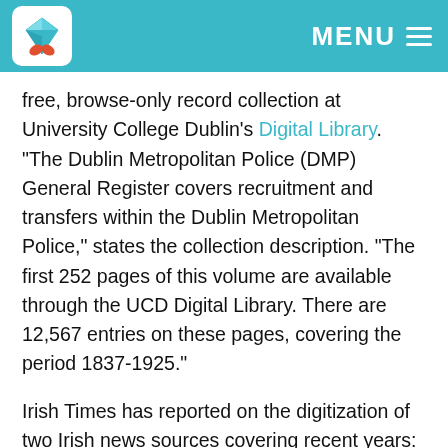MENU
free, browse-only record collection at University College Dublin's Digital Library. “The Dublin Metropolitan Police (DMP) General Register covers recruitment and transfers within the Dublin Metropolitan Police,” states the collection description. “The first 252 pages of this volume are available through the UCD Digital Library. There are 12,567 entries on these pages, covering the period 1837-1925.”
Irish Times has reported on the digitization of two Irish news sources covering recent years: